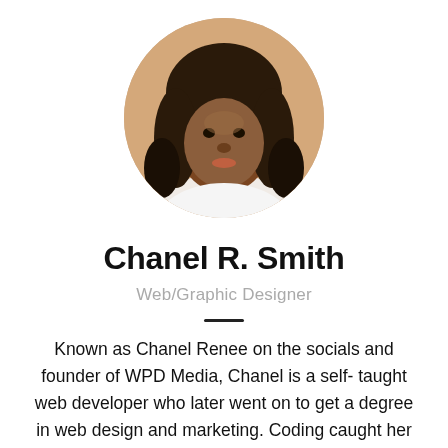[Figure (photo): Circular cropped portrait photo of Chanel R. Smith, a woman with long dark curly hair, wearing a white top, smiling at camera]
Chanel R. Smith
Web/Graphic Designer
Known as Chanel Renee on the socials and founder of WPD Media, Chanel is a self-taught web developer who later went on to get a degree in web design and marketing. Coding caught her attention in 1998 while initially navigating the web trying to make